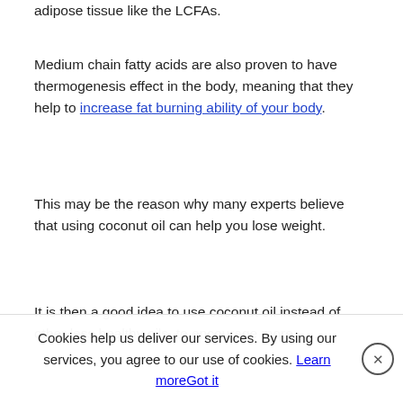adipose tissue like the LCFAs.
Medium chain fatty acids are also proven to have thermogenesis effect in the body, meaning that they help to increase fat burning ability of your body.
This may be the reason why many experts believe that using coconut oil can help you lose weight.
It is then a good idea to use coconut oil instead of other less healthy oils  to encourage more
Cookies help us deliver our services. By using our services, you agree to our use of cookies. Learn more  Got it